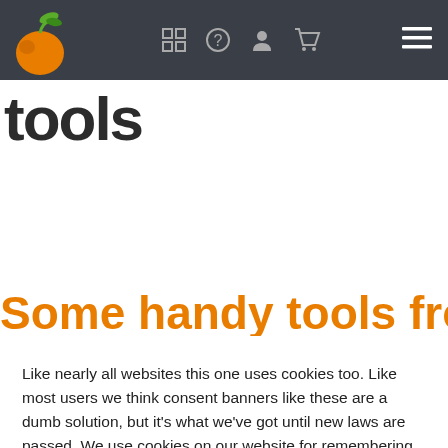[Figure (screenshot): Navigation bar with dark background, logo (orange fruit with green leaves), grid icon, question mark icon, person icon, cart icon, and hamburger menu icon]
tools
Some handy tools from the
Like nearly all websites this one uses cookies too. Like most users we think consent banners like these are a dumb solution, but it's what we've got until new laws are passed. We use cookies on our website for remembering your preferences, for example if you're logged in or what is in your cart. We also use 3rd party cookies for analytics so we know what pages on the site are most popular. By clicking “Accept”, you consent to the use of ALL the cookies.
Do not sell my personal information.